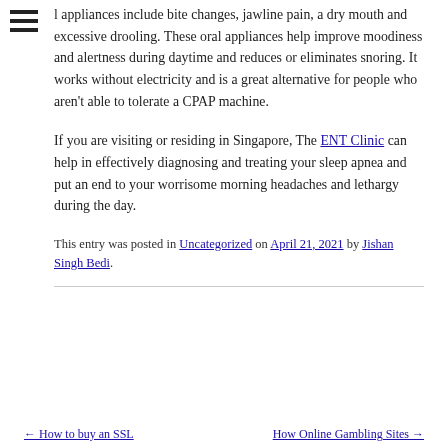l appliances include bite changes, jawline pain, a dry mouth and excessive drooling. These oral appliances help improve moodiness and alertness during daytime and reduces or eliminates snoring. It works without electricity and is a great alternative for people who aren't able to tolerate a CPAP machine.
If you are visiting or residing in Singapore, The ENT Clinic can help in effectively diagnosing and treating your sleep apnea and put an end to your worrisome morning headaches and lethargy during the day.
This entry was posted in Uncategorized on April 21, 2021 by Jishan Singh Bedi.
← How to buy an SSL     How Online Gambling Sites →